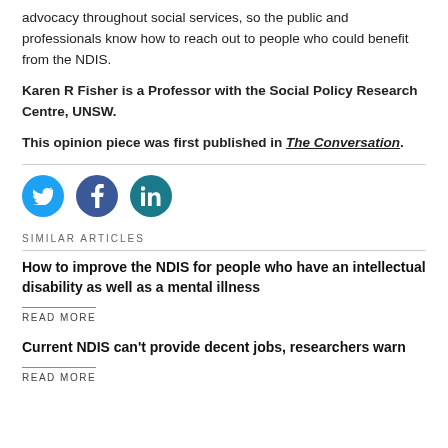advocacy throughout social services, so the public and professionals know how to reach out to people who could benefit from the NDIS.
Karen R Fisher is a Professor with the Social Policy Research Centre, UNSW.
This opinion piece was first published in The Conversation.
[Figure (infographic): Social media share icons: Twitter (blue circle), Facebook (dark blue circle), LinkedIn (teal circle)]
SIMILAR ARTICLES
How to improve the NDIS for people who have an intellectual disability as well as a mental illness
READ MORE
Current NDIS can't provide decent jobs, researchers warn
READ MORE